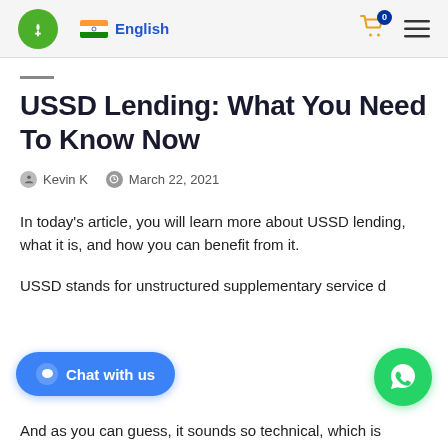English
USSD Lending: What You Need To Know Now
Kevin K   March 22, 2021
In today's article, you will learn more about USSD lending, what it is, and how you can benefit from it.
USSD stands for unstructured supplementary service d…
And as you can guess, it sounds so technical, which is